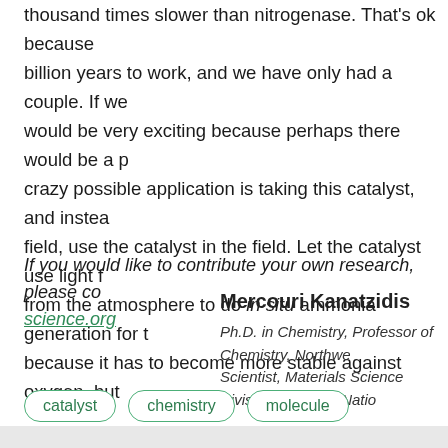thousand times slower than nitrogenase. That's ok because billion years to work, and we have only had a couple. If we would be very exciting because perhaps there would be a p crazy possible application is taking this catalyst, and instea field, use the catalyst in the field. Let the catalyst use light f from the atmosphere to do in situ ammonia generation for t because it has to become more stable against oxygen, but
If you would like to contribute your own research, please co science.org
Mercouri Kanatzidis
Ph.D. in Chemistry, Professor of Chemistry, Northwe Scientist, Materials Science Division, Argonne Natio
catalyst
chemistry
molecule
nitrogen
technology